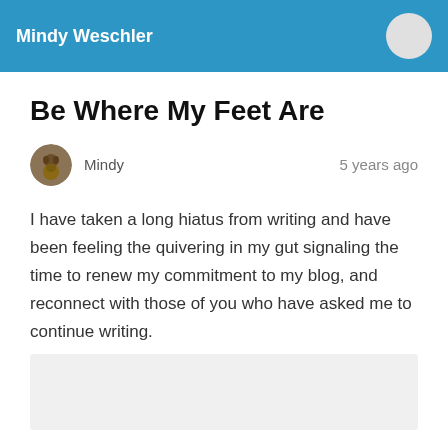Mindy Weschler
Be Where My Feet Are
Mindy    5 years ago
I have taken a long hiatus from writing and have been feeling the quivering in my gut signaling the time to renew my commitment to my blog, and reconnect with those of you who have asked me to continue writing.
[Figure (photo): Light gray image placeholder area below the article text]